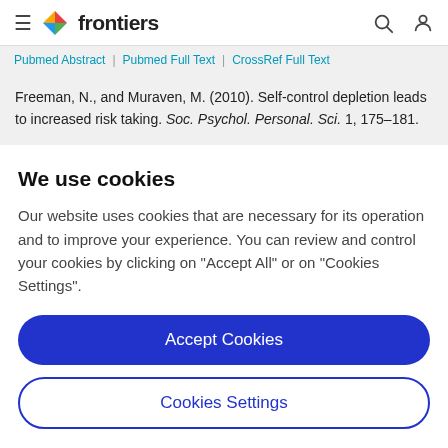frontiers
Pubmed Abstract | Pubmed Full Text | CrossRef Full Text
Freeman, N., and Muraven, M. (2010). Self-control depletion leads to increased risk taking. Soc. Psychol. Personal. Sci. 1, 175–181.
We use cookies
Our website uses cookies that are necessary for its operation and to improve your experience. You can review and control your cookies by clicking on "Accept All" or on "Cookies Settings".
Accept Cookies
Cookies Settings